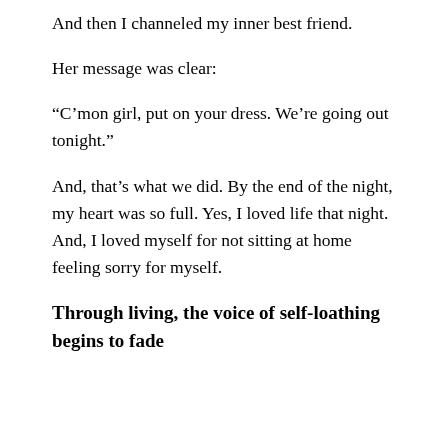And then I channeled my inner best friend.
Her message was clear:
“C’mon girl, put on your dress. We’re going out tonight.”
And, that’s what we did. By the end of the night, my heart was so full. Yes, I loved life that night. And, I loved myself for not sitting at home feeling sorry for myself.
Through living, the voice of self-loathing begins to fade